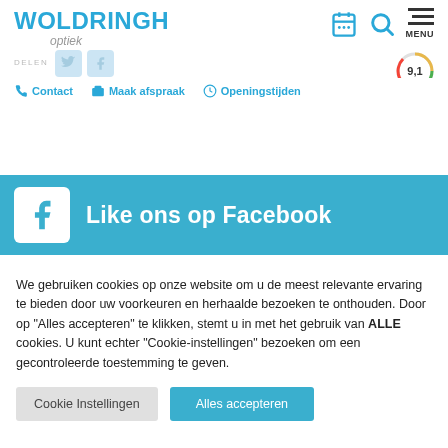WOLDRINGH optiek
[Figure (logo): Woldringh Optiek logo with social share icons (Twitter, Facebook), navigation icons (calendar, search, menu), and rating badge showing 9.1]
Contact   Maak afspraak   Openingstijden
[Figure (infographic): Facebook banner with white Facebook logo box and text 'Like ons op Facebook' on blue background]
We gebruiken cookies op onze website om u de meest relevante ervaring te bieden door uw voorkeuren en herhaalde bezoeken te onthouden. Door op "Alles accepteren" te klikken, stemt u in met het gebruik van ALLE cookies. U kunt echter "Cookie-instellingen" bezoeken om een gecontroleerde toestemming te geven.
Cookie Instellingen   Alles accepteren